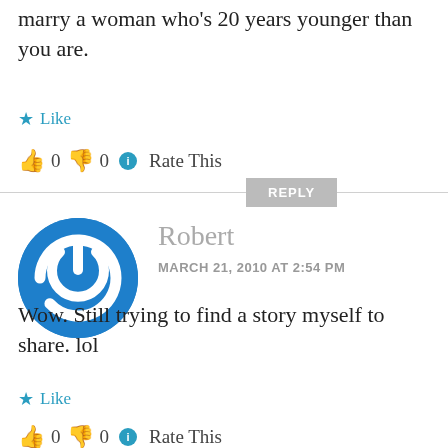marry a woman who's 20 years younger than you are.
★ Like
👍 0 👎 0 ℹ Rate This
REPLY
[Figure (logo): Blue circle power button icon avatar for user Robert]
Robert
MARCH 21, 2010 AT 2:54 PM
Wow. Still trying to find a story myself to share. lol
★ Like
👍 0 👎 0 ℹ Rate This